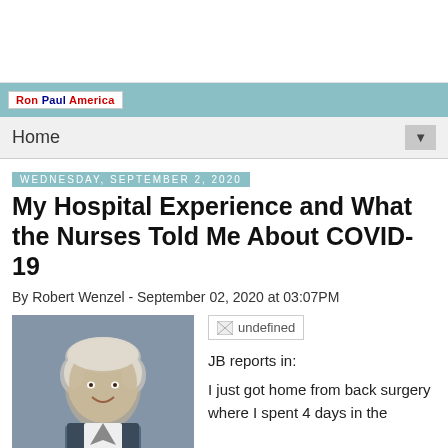Ron Paul America
Home
Wednesday, September 2, 2020
My Hospital Experience and What the Nurses Told Me About COVID-19
By Robert Wenzel - September 02, 2020 at 03:07PM
[Figure (photo): Photo of an elderly man with white hair, smiling, wearing a suit, in front of a blue background]
[Figure (other): Broken/undefined image placeholder]
JB reports in:
I just got home from back surgery where I spent 4 days in the